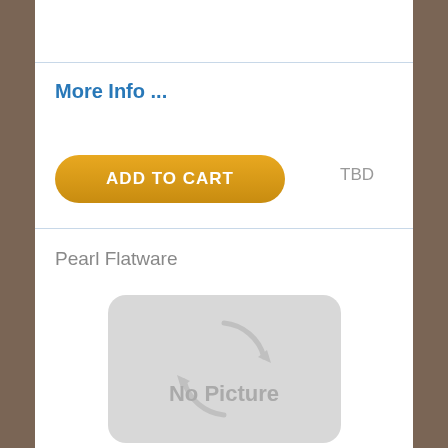More Info ...
ADD TO CART
TBD
Pearl Flatware
[Figure (illustration): No Picture placeholder image with a rounded rectangle background and a circular arrow icon with 'No Picture' text]